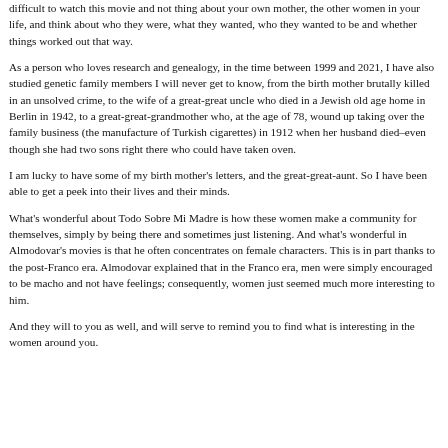difficult to watch this movie and not thing about your own mother, the other women in your life, and think about who they were, what they wanted, who they wanted to be and whether things worked out that way.
As a person who loves research and genealogy, in the time between 1999 and 2021, I have also studied genetic family members I will never get to know, from the birth mother brutally killed in an unsolved crime, to the wife of a great-great uncle who died in a Jewish old age home in Berlin in 1942, to a great-great-grandmother who, at the age of 78, wound up taking over the family business (the manufacture of Turkish cigarettes) in 1912 when her husband died–even though she had two sons right there who could have taken oven.
I am lucky to have some of my birth mother's letters, and the great-great-aunt. So I have been able to get a peek into their lives and their minds.
What's wonderful about Todo Sobre Mi Madre is how these women make a community for themselves, simply by being there and sometimes just listening. And what's wonderful in Almodovar's movies is that he often concentrates on female characters. This is in part thanks to the post-Franco era. Almodovar explained that in the Franco era, men were simply encouraged to be macho and not have feelings; consequently, women just seemed much more interesting to him.
And they will to you as well, and will serve to remind you to find what is interesting in the women around you.